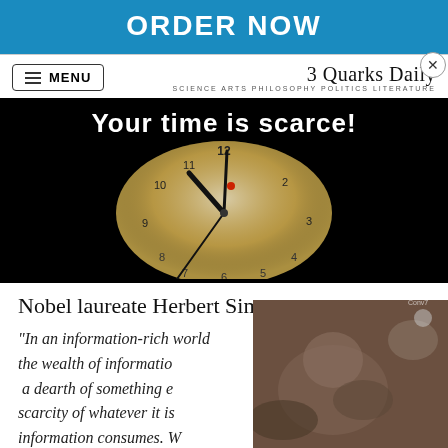[Figure (screenshot): Blue ORDER NOW banner button]
3 Quarks Daily — SCIENCE ARTS PHILOSOPHY POLITICS LITERATURE
[Figure (photo): Clock photo with text 'Your time is scarce!' overlaid on dark background]
Nobel laureate Herbert Simon:
“In an information-rich world the wealth of information a dearth of something e scarcity of whatever it is information consumes. W information consumes is
[Figure (screenshot): Partially visible video player overlay with play button, showing an animal (otter or similar) in earthy tones]